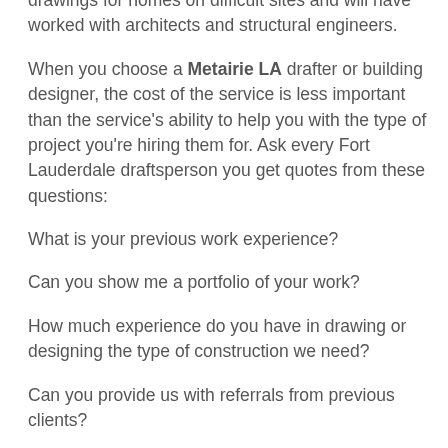drawings for homes on difficult sites and will have worked with architects and structural engineers.
When you choose a Metairie LA drafter or building designer, the cost of the service is less important than the service's ability to help you with the type of project you're hiring them for. Ask every Fort Lauderdale draftsperson you get quotes from these questions:
What is your previous work experience?
Can you show me a portfolio of your work?
How much experience do you have in drawing or designing the type of construction we need?
Can you provide us with referrals from previous clients?
This information will tell you if you've found the right service